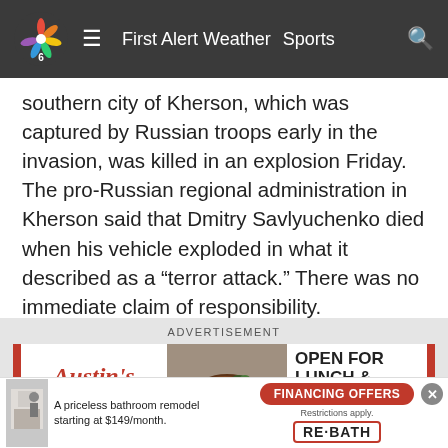First Alert Weather  Sports
southern city of Kherson, which was captured by Russian troops early in the invasion, was killed in an explosion Friday. The pro-Russian regional administration in Kherson said that Dmitry Savlyuchenko died when his vehicle exploded in what it described as a “terror attack.” There was no immediate claim of responsibility.
[Figure (other): Advertisement banner for Austin's restaurant: logo on left, food photo in center, text 'OPEN FOR LUNCH & DINNER DINE IN AND CARRY-OUT' on right, with red accent bars on each side. Labeled ADVERTISEMENT above.]
Yuras Karmanau reported from Lviv.
[Figure (other): Bottom advertisement bar for Re-Bath: bathroom remodel photo on left, text 'A priceless bathroom remodel starting at $149/month.', red 'FINANCING OFFERS' button, 'Restrictions apply.', Re-Bath logo on right. Close button (X) in top-right corner.]